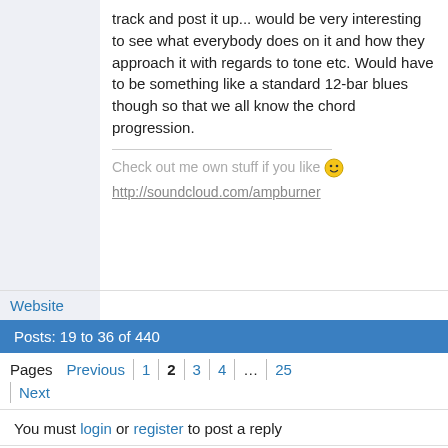track and post it up... would be very interesting to see what everybody does on it and how they approach it with regards to tone etc. Would have to be something like a standard 12-bar blues though so that we all know the chord progression.
Check out me own stuff if you like 🙂
http://soundcloud.com/ampburner
Website
Posts: 19 to 36 of 440
Pages Previous 1 2 3 4 ... 25 Next
You must login or register to post a reply
Joe Bonamassa Forum → Other Artists → Forum players under 21